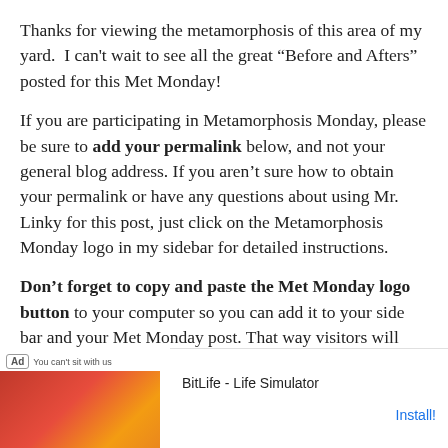Thanks for viewing the metamorphosis of this area of my yard.  I can't wait to see all the great “Before and Afters” posted for this Met Monday!
If you are participating in Metamorphosis Monday, please be sure to add your permalink below, and not your general blog address. If you aren’t sure how to obtain your permalink or have any questions about using Mr. Linky for this post, just click on the Metamorphosis Monday logo in my sidebar for detailed instructions.
Don’t forget to copy and paste the Met Monday logo button to your computer so you can add it to your side bar and your Met Monday post. That way visitors will know that your are participating in Metamorphosis Monday.
Please be sure to link back to the host blog, Between Naps on the Porch, in your participating
[Figure (screenshot): Mobile advertisement overlay for BitLife - Life Simulator app, showing Ad badge, game screenshot, app name, and Install button]